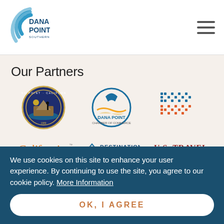Dana Point Southern California
Our Partners
[Figure (logo): City of Dana Point California official seal logo]
[Figure (logo): Dana Point Chamber of Commerce logo]
[Figure (logo): Dotted/pixelated pattern logo]
[Figure (logo): California dream big logo]
[Figure (logo): Destinations International logo]
[Figure (logo): U.S. Travel Association logo]
[Figure (logo): The OC logo (partial)]
[Figure (logo): California Travel Association logo]
[Figure (logo): SHACC logo]
We use cookies on this site to enhance your user experience. By continuing to use the site, you agree to our cookie policy. More Information
OK, I AGREE